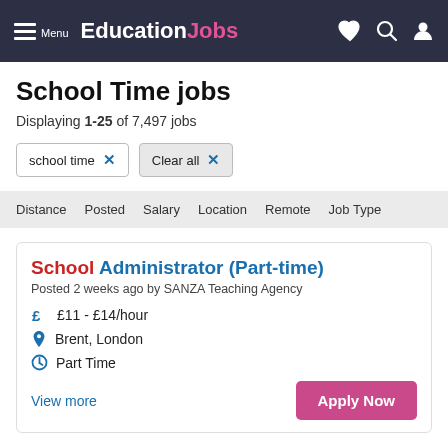Education Jobs
School Time jobs
Displaying 1-25 of 7,497 jobs
school time × | Clear all ×
Distance  Posted  Salary  Location  Remote  Job Type
School Administrator (Part-time)
Posted 2 weeks ago by SANZA Teaching Agency
£11 - £14/hour
Brent, London
Part Time
View more
Apply Now